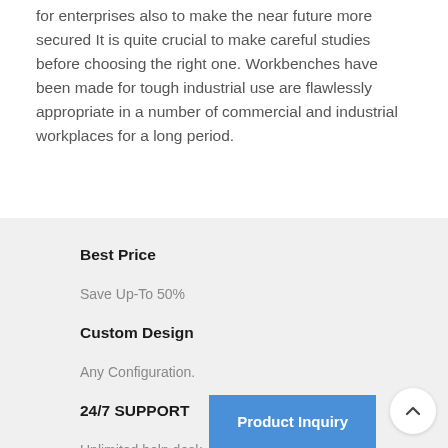for enterprises also to make the near future more secured It is quite crucial to make careful studies before choosing the right one. Workbenches have been made for tough industrial use are flawlessly appropriate in a number of commercial and industrial workplaces for a long period.
Best Price
Save Up-To 50%
Custom Design
Any Configuration.
24/7 SUPPORT
Unlimited help desk
Product Inquiry